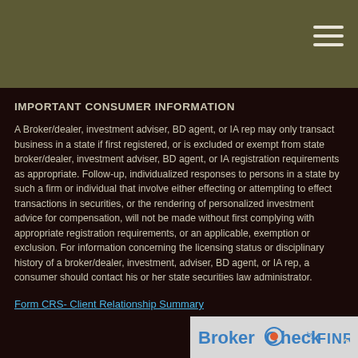IMPORTANT CONSUMER INFORMATION
A Broker/dealer, investment adviser, BD agent, or IA rep may only transact business in a state if first registered, or is excluded or exempt from state broker/dealer, investment adviser, BD agent, or IA registration requirements as appropriate. Follow-up, individualized responses to persons in a state by such a firm or individual that involve either effecting or attempting to effect transactions in securities, or the rendering of personalized investment advice for compensation, will not be made without first complying with appropriate registration requirements, or an applicable, exemption or exclusion. For information concerning the licensing status or disciplinary history of a broker/dealer, investment, adviser, BD agent, or IA rep, a consumer should contact his or her state securities law administrator.
Form CRS- Client Relationship Summary
[Figure (logo): BrokerCheck by FINRA logo on a light gray background]